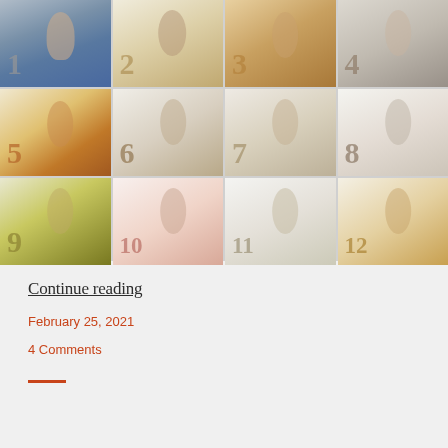[Figure (photo): A 4x3 grid of 12 baby monthly milestone photos. Each photo shows a baby lying next to objects arranged to form the number corresponding to their age in months (1 through 12). The babies are photographed from above on light-colored backgrounds.]
Continue reading
February 25, 2021
4 Comments